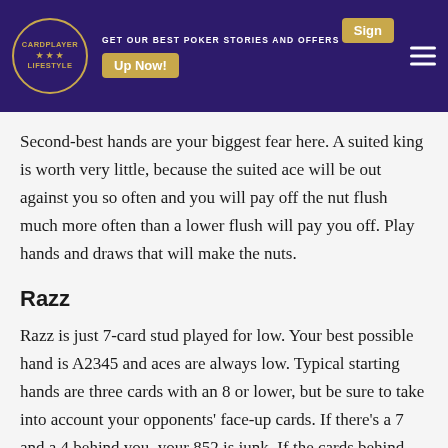CARDPLAYER LIFESTYLE | GET OUR BEST POKER STORIES AND OFFERS | Sign Up Now!
Second-best hands are your biggest fear here. A suited king is worth very little, because the suited ace will be out against you so often and you will pay off the nut flush much more often than a lower flush will pay you off. Play hands and draws that will make the nuts.
Razz
Razz is just 7-card stud played for low. Your best possible hand is A2345 and aces are always low. Typical starting hands are three cards with an 8 or lower, but be sure to take into account your opponents' face-up cards. If there's a 7 and a 4 behind you, your 852 is junk. If the cards behind you are all above an 8, then 852 is